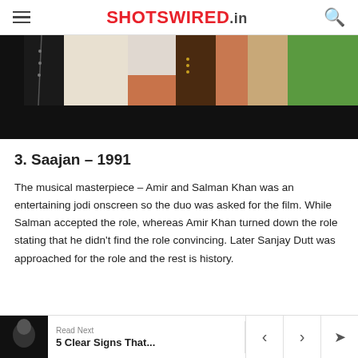SHOTSWIRED.in
[Figure (photo): Partial photo of people, cropped showing torsos and clothing, with a dark bottom strip and green background on right]
3. Saajan – 1991
The musical masterpiece – Amir and Salman Khan was an entertaining jodi onscreen so the duo was asked for the film. While Salman accepted the role, whereas Amir Khan turned down the role stating that he didn't find the role convincing. Later Sanjay Dutt was approached for the role and the rest is history.
Read Next | 5 Clear Signs That...